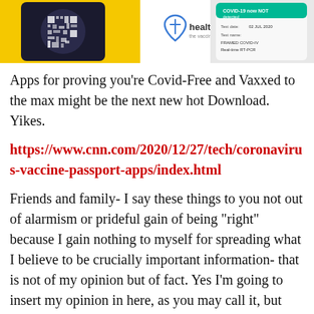[Figure (screenshot): Screenshots of smartphone health passport apps showing Covid-Free and vaccine status, including a QR code app on yellow background and a 'health the vaccine passport' app with Covid-19 test result details.]
Apps for proving you’re Covid-Free and Vaxxed to the max might be the next new hot Download. Yikes.
https://www.cnn.com/2020/12/27/tech/coronavirus-vaccine-passport-apps/index.html
Friends and family- I say these things to you not out of alarmism or prideful gain of being “right” because I gain nothing to myself for spreading what I believe to be crucially important information- that is not of my opinion but of fact. Yes I’m going to insert my opinion in here, as you may call it, but that “opinion” is based off of my knowledge of the scriptures from the Holy Bible, which has time and time again throughout history, been